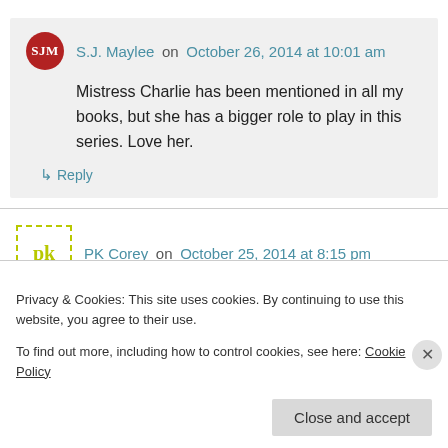S.J. Maylee on October 26, 2014 at 10:01 am
Mistress Charlie has been mentioned in all my books, but she has a bigger role to play in this series. Love her.
↳ Reply
PK Corey on October 25, 2014 at 8:15 pm
Privacy & Cookies: This site uses cookies. By continuing to use this website, you agree to their use. To find out more, including how to control cookies, see here: Cookie Policy
Close and accept